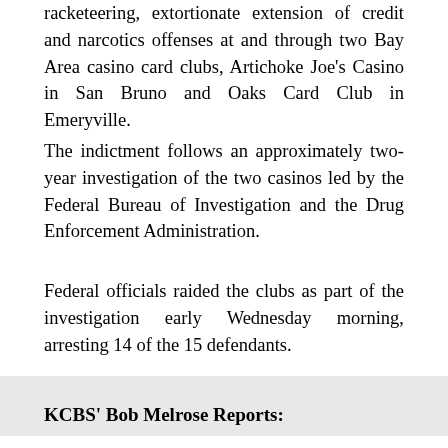racketeering, extortionate extension of credit and narcotics offenses at and through two Bay Area casino card clubs, Artichoke Joe's Casino in San Bruno and Oaks Card Club in Emeryville.
The indictment follows an approximately two-year investigation of the two casinos led by the Federal Bureau of Investigation and the Drug Enforcement Administration.
Federal officials raided the clubs as part of the investigation early Wednesday morning, arresting 14 of the 15 defendants.
KCBS' Bob Melrose Reports: